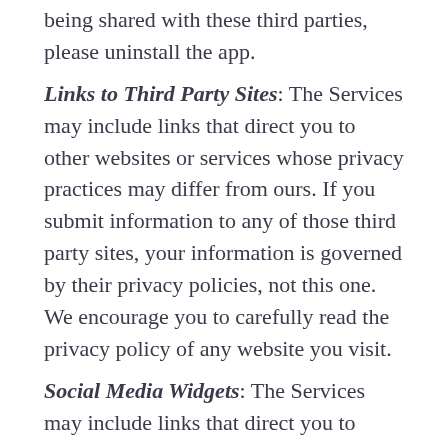being shared with these third parties, please uninstall the app.
Links to Third Party Sites: The Services may include links that direct you to other websites or services whose privacy practices may differ from ours. If you submit information to any of those third party sites, your information is governed by their privacy policies, not this one. We encourage you to carefully read the privacy policy of any website you visit.
Social Media Widgets: The Services may include links that direct you to other websites or services whose privacy practices may differ from ours. Your use of and any information you submit to any of those third-party sites is governed by their privacy policies, not this one.
Third-Party Widgets: Some of our Services contain widgets and social media features, such as the Twitter